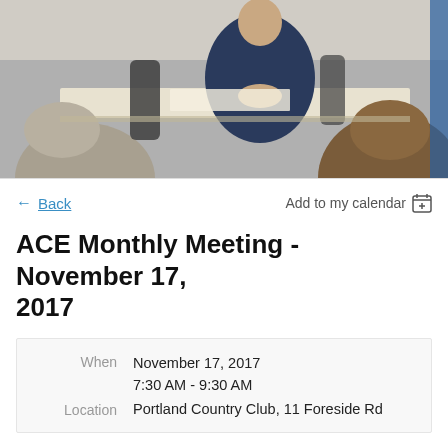[Figure (photo): Meeting scene showing people seated at a table, viewed from behind, with a person in a suit at the front of the room.]
← Back    Add to my calendar 📅
ACE Monthly Meeting - November 17, 2017
| When | November 17, 2017
7:30 AM - 9:30 AM |
| Location | Portland Country Club, 11 Foreside Rd |